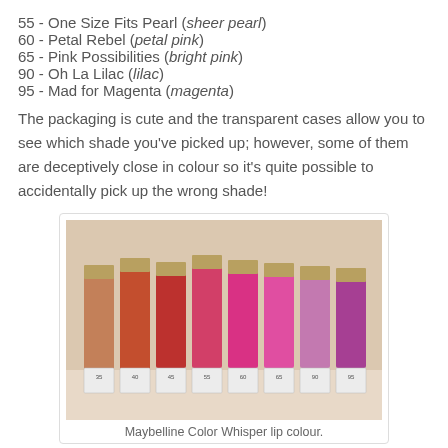55 - One Size Fits Pearl (sheer pearl)
60 - Petal Rebel (petal pink)
65 - Pink Possibilities (bright pink)
90 - Oh La Lilac (lilac)
95 - Mad for Magenta (magenta)
The packaging is cute and the transparent cases allow you to see which shade you've picked up; however, some of them are deceptively close in colour so it's quite possible to accidentally pick up the wrong shade!
[Figure (photo): Eight Maybelline Color Whisper lip colour products standing upright in a row, showing various shades from nude/brown to red to pink to magenta, each with a numbered label at the base.]
Maybelline Color Whisper lip colour.
Read more after the jump!